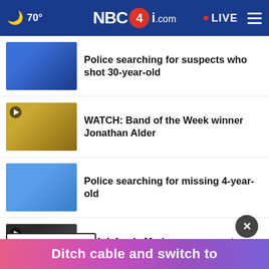70° NBC4i.com LIVE
Police searching for suspects who shot 30-year-old
WATCH: Band of the Week winner Jonathan Alder
Police searching for missing 4-year-old
WH defends Marine presence at Biden speech
More Stories >
Ditch cable and switch to